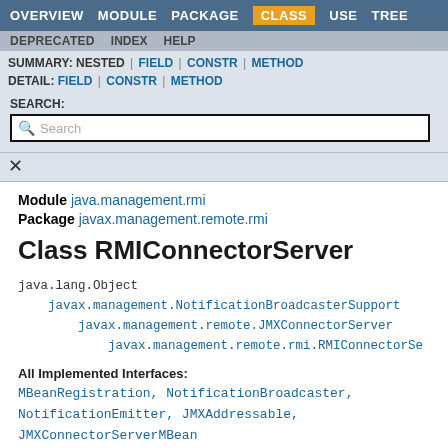OVERVIEW  MODULE  PACKAGE  CLASS  USE  TREE
DEPRECATED  INDEX  HELP
SUMMARY: NESTED | FIELD | CONSTR | METHOD
DETAIL: FIELD | CONSTR | METHOD
SEARCH:
Module java.management.rmi
Package javax.management.remote.rmi
Class RMIConnectorServer
java.lang.Object
    javax.management.NotificationBroadcasterSupport
        javax.management.remote.JMXConnectorServer
            javax.management.remote.rmi.RMIConnectorServer
All Implemented Interfaces:
MBeanRegistration, NotificationBroadcaster, NotificationEmitter, JMXAddressable, JMXConnectorServerMBean